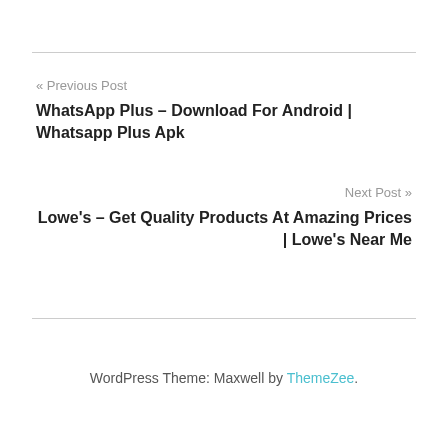« Previous Post
WhatsApp Plus – Download For Android | Whatsapp Plus Apk
Next Post »
Lowe's – Get Quality Products At Amazing Prices | Lowe's Near Me
WordPress Theme: Maxwell by ThemeZee.